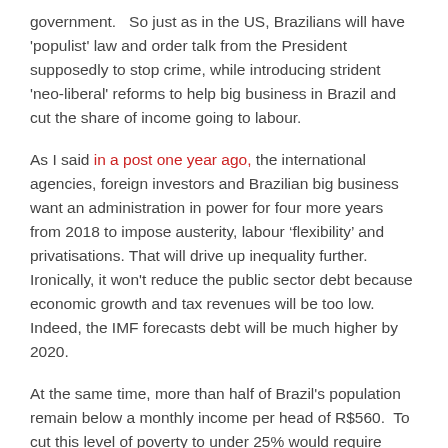government.   So just as in the US, Brazilians will have 'populist' law and order talk from the President supposedly to stop crime, while introducing strident 'neo-liberal' reforms to help big business in Brazil and cut the share of income going to labour.
As I said in a post one year ago, the international agencies, foreign investors and Brazilian big business want an administration in power for four more years from 2018 to impose austerity, labour ‘flexibility’ and privatisations. That will drive up inequality further. Ironically, it won't reduce the public sector debt because economic growth and tax revenues will be too low.  Indeed, the IMF forecasts debt will be much higher by 2020.
At the same time, more than half of Brazil's population remain below a monthly income per head of R$560.  To cut this level of poverty to under 25% would require productivity four times as fast as the current rate. And there is no prospect of that under capitalism in Brazil.  That's because the profitability of